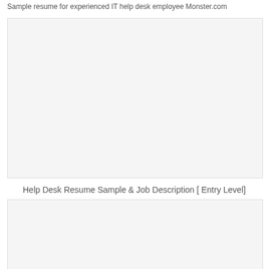Sample resume for experienced IT help desk employee Monster.com
[Figure (other): Placeholder image area for sample resume content (experienced IT help desk employee, Monster.com)]
Help Desk Resume Sample & Job Description [ Entry Level]
[Figure (other): Placeholder image area for help desk resume sample and job description entry level content]